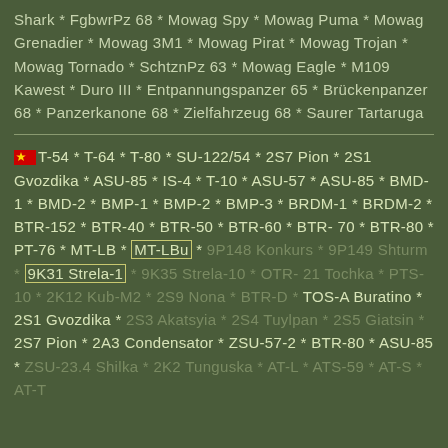Shark * FgbwrPz 68 * Mowag Spy * Mowag Puma * Mowag Grenadier * Mowag 3M1 * Mowag Pirat * Mowag Trojan * Mowag Tornado * SchtznPz 63 * Mowag Eagle * M109 Kawest * Duro III * Entpannungspanzer 65 * Brückenpanzer 68 * Panzerkanone 68 * Zielfahrzeug 68 * Saurer Tartaruga
T-54 * T-64 * T-80 * SU-122/54 * 2S7 Pion * 2S1 Gvozdika * ASU-85 * IS-4 * T-10 * ASU-57 * ASU-85 * BMD-1 * BMD-2 * BMP-1 * BMP-2 * BMP-3 * BRDM-1 * BRDM-2 * BTR-152 * BTR-40 * BTR-50 * BTR-60 * BTR-70 * BTR-80 * PT-76 * MT-LB * MT-LBu * 9P148 Konkurs * 9P149 Shturm * 9K31 Strela-1 * 9K35 Strela-10 * OTR-21 Tochka * PTS-10 * 2K12 Kub-M2 * 2S9 Nona * BTR-D * TOS-A Buratino * 2S1 Gvozdika * 2S3 Akatsyia * 2S4 Tuylpan * 2S5 Giatsin * 2S7 Pion * 2A3 Condensator * ZSU-57-2 * BTR-80 * ASU-85 * ZSU-23.4 Shilka * 2K2 Tunguska * AT-L * ATS-59 * AT-S * AT-T